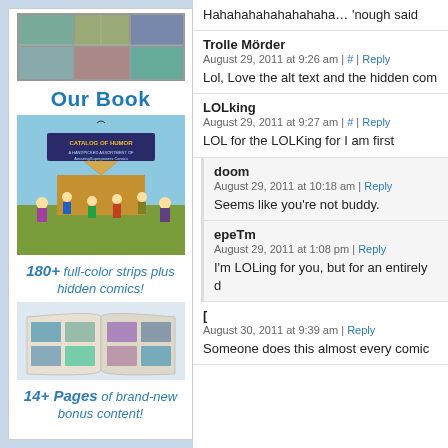[Figure (illustration): Left sidebar advertisement for a comic book. Shows comic strip images at top, 'Our Book' title, a book cover illustration with cartoon characters, text '180+ full-color strips plus hidden comics!', an open book illustration, and '14+ Pages of brand-new bonus content!']
Hahahahahahahahaha… 'nough said
Trolle Mörder
August 29, 2011 at 9:26 am | # | Reply
Lol, Love the alt text and the hidden com
LOLking
August 29, 2011 at 9:27 am | # | Reply
LOL for the LOLKing for I am first
doom
August 29, 2011 at 10:18 am | Reply
Seems like you're not buddy.
epeTm
August 29, 2011 at 1:08 pm | Reply
I'm LOLing for you, but for an entirely d
[
August 30, 2011 at 9:39 am | Reply
Someone does this almost every comic